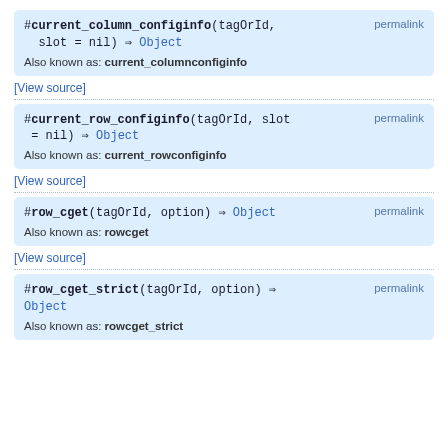#current_column_configinfo(tagOrId, slot = nil) ⇒ Object  permalink
Also known as: current_columnconfiginfo
[View source]
#current_row_configinfo(tagOrId, slot = nil) ⇒ Object  permalink
Also known as: current_rowconfiginfo
[View source]
#row_cget(tagOrId, option) ⇒ Object  permalink
Also known as: rowcget
[View source]
#row_cget_strict(tagOrId, option) ⇒ Object  permalink
Also known as: rowcget_strict